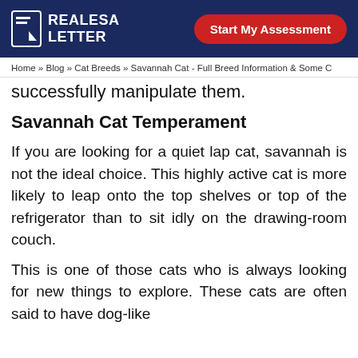REALESA LETTER | Start My Assessment
Home » Blog » Cat Breeds » Savannah Cat - Full Breed Information & Some C
successfully manipulate them.
Savannah Cat Temperament
If you are looking for a quiet lap cat, savannah is not the ideal choice. This highly active cat is more likely to leap onto the top shelves or top of the refrigerator than to sit idly on the drawing-room couch.
This is one of those cats who is always looking for new things to explore. These cats are often said to have dog-like